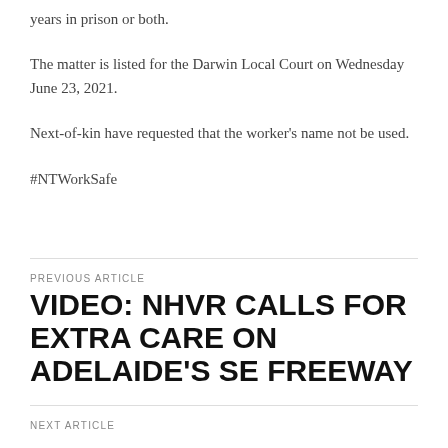years in prison or both.
The matter is listed for the Darwin Local Court on Wednesday June 23, 2021.
Next-of-kin have requested that the worker’s name not be used.
#NTWorkSafe
PREVIOUS ARTICLE
VIDEO: NHVR CALLS FOR EXTRA CARE ON ADELAIDE’S SE FREEWAY
NEXT ARTICLE